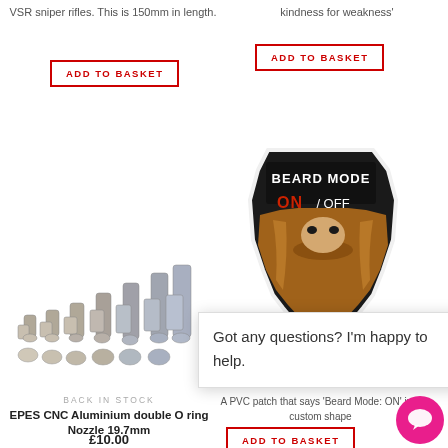VSR sniper rifles. This is 150mm in length.
kindness for weakness'
ADD TO BASKET
ADD TO BASKET
[Figure (photo): Multiple metal nozzle parts arranged in rows, varying sizes, silver-grey metallic finish]
[Figure (photo): Black PVC patch shaped like a beard silhouette, text reads BEARD MODE ON / OFF in white and red letters]
BACK IN STOCK
EPES CNC Aluminium double O ring Nozzle 19.7mm
£10.00
EPES CNC Aluminium double O ring Nozzle 19.7mm – Double O ring for increased air seal – Highly durable over standard
Got any questions? I'm happy to help.
A PVC patch that says 'Beard Mode: ON' in a custom shape
ADD TO BASKET